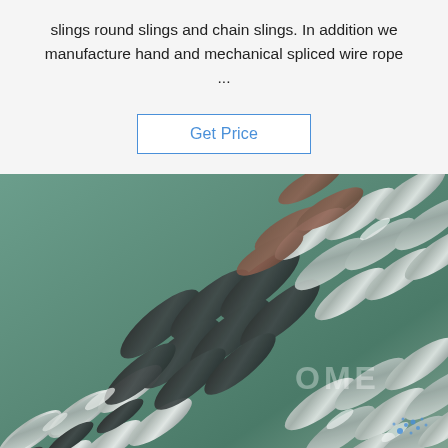slings round slings and chain slings. In addition we manufacture hand and mechanical spliced wire rope ...
Get Price
[Figure (photo): Close-up photograph of interlocking metallic chain links or wire rope slings, showing silver and dark metallic textures with a 'TOP' watermark logo in the lower right corner.]